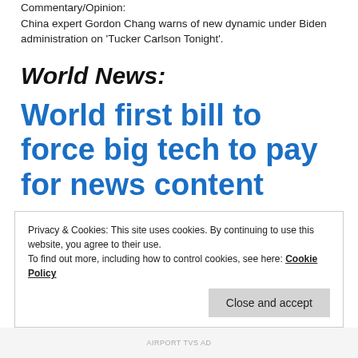Commentary/Opinion:
China expert Gordon Chang warns of new dynamic under Biden administration on 'Tucker Carlson Tonight'.
World News:
World first bill to force big tech to pay for news content
Privacy & Cookies: This site uses cookies. By continuing to use this website, you agree to their use.
To find out more, including how to control cookies, see here: Cookie Policy
Close and accept
AIRPORT TVS AD